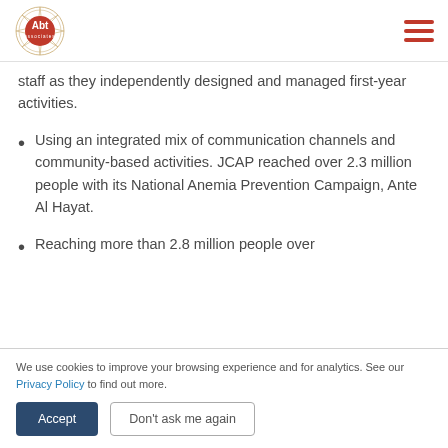Abt Associates logo and navigation menu
staff as they independently designed and managed first-year activities.
Using an integrated mix of communication channels and community-based activities. JCAP reached over 2.3 million people with its National Anemia Prevention Campaign, Ante Al Hayat.
Reaching more than 2.8 million people over
We use cookies to improve your browsing experience and for analytics. See our Privacy Policy to find out more.
Accept | Don't ask me again